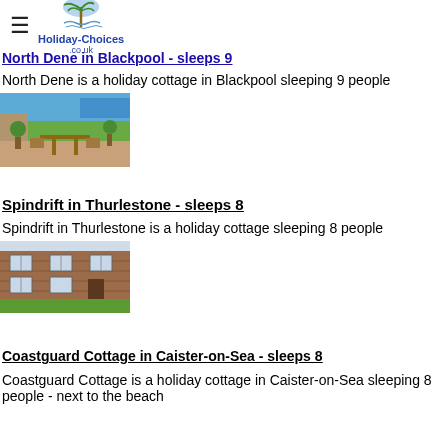Holiday-Choices.co.uk
North Dene in Blackpool - sleeps 9
North Dene is a holiday cottage in Blackpool sleeping 9 people
[Figure (photo): Outdoor terrace with wooden furniture and sea view in background, blue sky]
Spindrift in Thurlestone - sleeps 8
Spindrift in Thurlestone is a holiday cottage sleeping 8 people
[Figure (photo): Brick building exterior with windows and green lawn in front]
Coastguard Cottage in Caister-on-Sea - sleeps 8
Coastguard Cottage is a holiday cottage in Caister-on-Sea sleeping 8 people - next to the beach